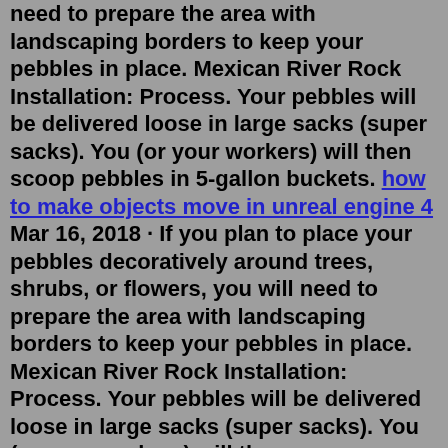need to prepare the area with landscaping borders to keep your pebbles in place. Mexican River Rock Installation: Process. Your pebbles will be delivered loose in large sacks (super sacks). You (or your workers) will then scoop pebbles in 5-gallon buckets. how to make objects move in unreal engine 4 Mar 16, 2018 · If you plan to place your pebbles decoratively around trees, shrubs, or flowers, you will need to prepare the area with landscaping borders to keep your pebbles in place. Mexican River Rock Installation: Process. Your pebbles will be delivered loose in large sacks (super sacks). You (or your workers) will then scoop pebbles in 5-gallon buckets. Keep water in the tray to boost the humidity level around the plants. Misting isn't necessary, but go ahead and do it if it makes you feel better! You also can get a small humidifier to run or ...Here is a list of 6 things you can do to prepare your plants before leaving. 1. Scratch the surface of the soil in your pots with a scratcher to allow for better water penetration. 2. Fertilize your plants with Jack's Classic Blossom